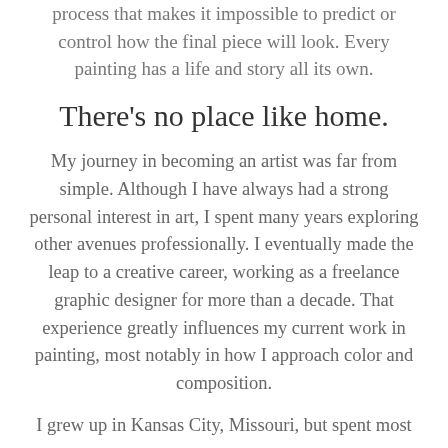process that makes it impossible to predict or control how the final piece will look. Every painting has a life and story all its own.
There's no place like home.
My journey in becoming an artist was far from simple. Although I have always had a strong personal interest in art, I spent many years exploring other avenues professionally. I eventually made the leap to a creative career, working as a freelance graphic designer for more than a decade. That experience greatly influences my current work in painting, most notably in how I approach color and composition.
I grew up in Kansas City, Missouri, but spent most